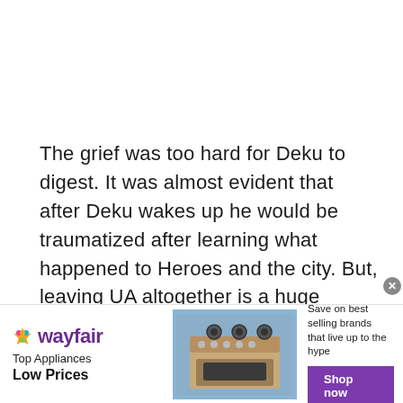The grief was too hard for Deku to digest. It was almost evident that after Deku wakes up he would be traumatized after learning what happened to Heroes and the city. But, leaving UA altogether is a huge decision to make. Chapter 306 mostly centered on Deku and the Hero Society. Deku has revealed the secret behind his strength his classmates. But, he left Bakugo out of it because
[Figure (infographic): Wayfair advertisement banner: 'Top Appliances Low Prices' with image of a stove/range appliance and 'Save on best selling brands that live up to the hype' with a purple 'Shop now' button]